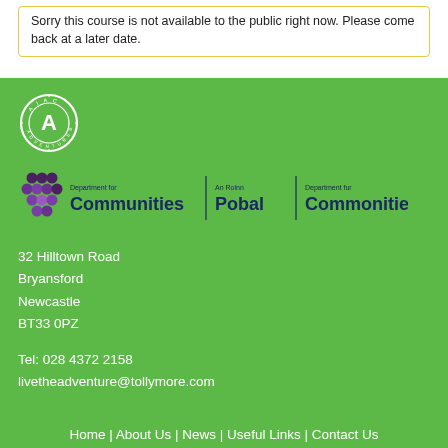Sorry this course is not available to the public right now. Please come back at a later date.
[Figure (logo): AIAC Adventureback circular logo with letter A in center]
[Figure (logo): Department for Communities / An Roinn Pobal / Department for Commonities logos combined]
32 Hilltown Road
Bryansford
Newcastle
BT33 0PZ
Tel: 028 4372 2158
livetheadventure@tollymore.com
Home | About Us | News | Useful Links | Contact Us